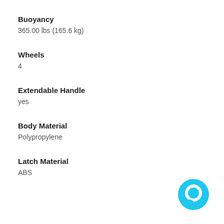Buoyancy
365.00 lbs (165.6 kg)
Wheels
4
Extendable Handle
yes
Body Material
Polypropylene
Latch Material
ABS
[Figure (illustration): Cyan chat bubble icon in the bottom-right corner]